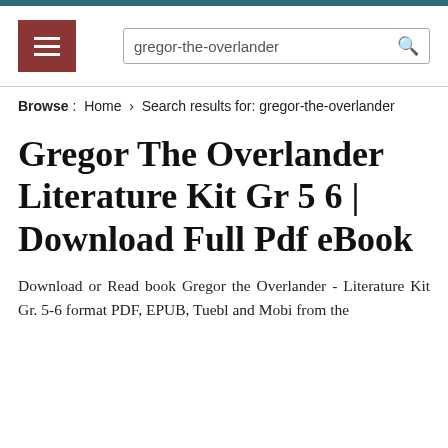[Figure (screenshot): Navigation bar with hamburger menu button (dark red/maroon) and search box containing 'gregor-the-overlander' with search icon]
Browse : Home › Search results for: gregor-the-overlander
Gregor The Overlander Literature Kit Gr 5 6 | Download Full Pdf eBook
Download or Read book Gregor the Overlander - Literature Kit Gr. 5-6 format PDF, EPUB, Tuebl and Mobi from the